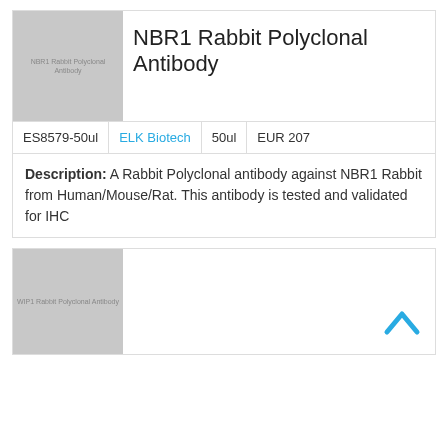[Figure (photo): Thumbnail placeholder image for NBR1 Rabbit Polyclonal Antibody product]
NBR1 Rabbit Polyclonal Antibody
| ES8579-50ul | ELK Biotech | 50ul | EUR 207 |
| --- | --- | --- | --- |
Description: A Rabbit Polyclonal antibody against NBR1 Rabbit from Human/Mouse/Rat. This antibody is tested and validated for IHC
[Figure (photo): Thumbnail placeholder image for WIP1 Rabbit Polyclonal Antibody product]